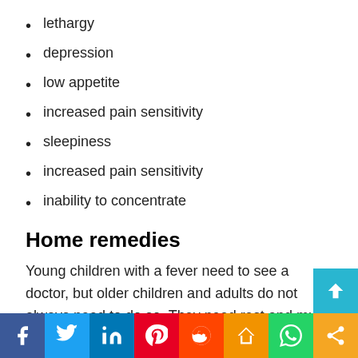lethargy
depression
low appetite
increased pain sensitivity
sleepiness
increased pain sensitivity
inability to concentrate
Home remedies
Young children with a fever need to see a doctor, but older children and adults do not always need to do so. They need rest and must remain hydrated. Adults may take acetaminophen, ibuprofen, or aspirin to reduce the temperature. Children must not take aspirin.